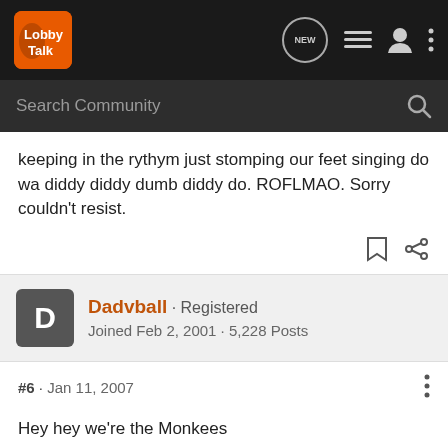[Figure (logo): LobbyTalk logo with orange background in top navigation bar]
keeping in the rythym just stomping our feet singing do wa diddy diddy dumb diddy do. ROFLMAO. Sorry couldn't resist.
Dadvball · Registered
Joined Feb 2, 2001 · 5,228 Posts
#6 · Jan 11, 2007
Hey hey we're the Monkees
I used to love that show. Loved the car more though. :lol: